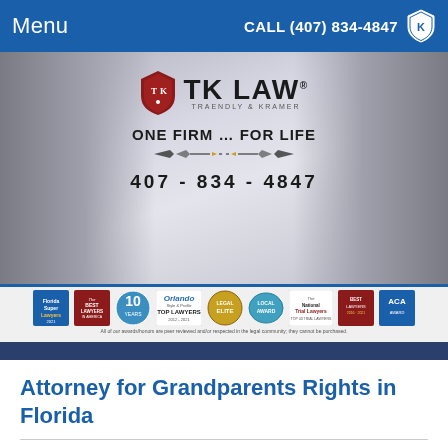Menu | CALL (407) 834-4847
[Figure (photo): TK Law — Traendly & Kramer law firm banner with two male attorneys in suits, firm logo with shield, tagline 'ONE FIRM ... FOR LIFE', phone number 407-834-4847]
[Figure (infographic): Awards strip with multiple legal recognition badges including Florida Super Lawyers 2021, The Best Lawyers in America, 10-year badge, Orlando Top Lawyers 2012-2021, Legal Elite, local award, National Trial Lawyers, Best Lawyers 2016-2021, ACA award. Footnote: All of our awards/honors are peer reviewed and/or respected in the legal community; they cannot be purchased.]
Attorney for Grandparents Rights in Florida
Grandparents rights to custody and visitation is an emotionally charged issue. Florida is one of the most restrictive states when it comes to granting grandparents these rights.